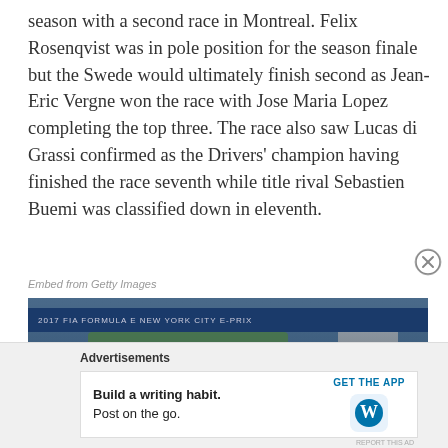season with a second race in Montreal. Felix Rosenqvist was in pole position for the season finale but the Swede would ultimately finish second as Jean-Eric Vergne won the race with Jose Maria Lopez completing the top three. The race also saw Lucas di Grassi confirmed as the Drivers' champion having finished the race seventh while title rival Sebastien Buemi was classified down in eleventh.
Embed from Getty Images
[Figure (photo): A blurry photograph of a Formula E racing circuit with blue banners, signage with repeated logos, green trees in the background, and a racing figure visible. An orange blur suggests movement.]
Advertisements
[Figure (infographic): Advertisement banner: 'Build a writing habit. Post on the go.' with a GET THE APP call to action and WordPress logo.]